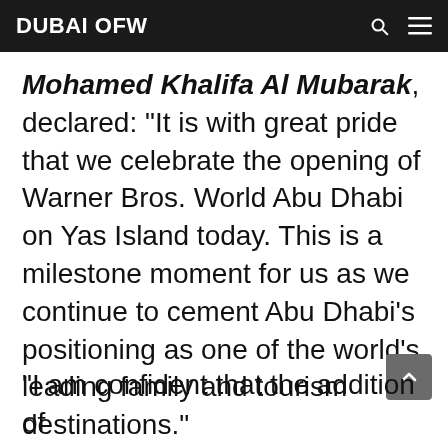DUBAI OFW
Mohamed Khalifa Al Mubarak, declared: “It is with great pride that we celebrate the opening of Warner Bros. World Abu Dhabi on Yas Island today. This is a milestone moment for us as we continue to cement Abu Dhabi’s positioning as one of the world’s leading family and tourism destinations.”
“I am confident that the addition of